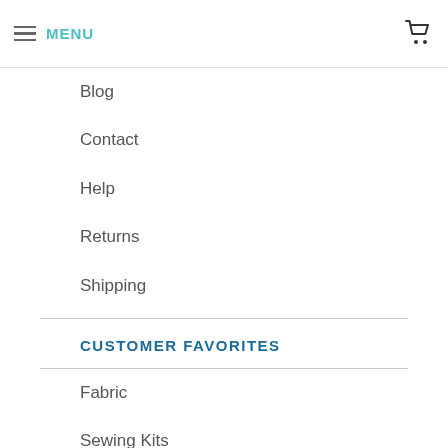MENU
Blog
Contact
Help
Returns
Shipping
CUSTOMER FAVORITES
Fabric
Sewing Kits
Pre-Cut Fabric
Brands
Collections
Themes
Patterns & Books